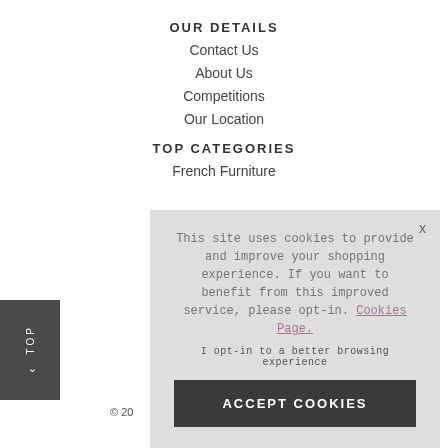OUR DETAILS
Contact Us
About Us
Competitions
Our Location
TOP CATEGORIES
French Furniture
This site uses cookies to provide and improve your shopping experience. If you want to benefit from this improved service, please opt-in. Cookies Page.
I opt-in to a better browsing experience
ACCEPT COOKIES
TOP
© 20